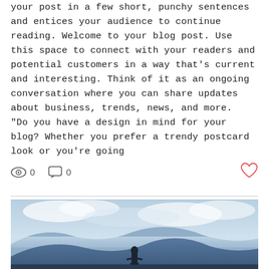your post in a few short, punchy sentences and entices your audience to continue reading. Welcome to your blog post. Use this space to connect with your readers and potential customers in a way that's current and interesting. Think of it as an ongoing conversation where you can share updates about business, trends, news, and more. “Do you have a design in mind for your blog? Whether you prefer a trendy postcard look or you’re going
[Figure (infographic): Social interaction icons: eye (views) showing 0, speech bubble (comments) showing 0, and a heart (likes) button on the right]
[Figure (photo): A person standing with their back to the camera overlooking a dramatic mountain and cloudy sky landscape with blue tones]